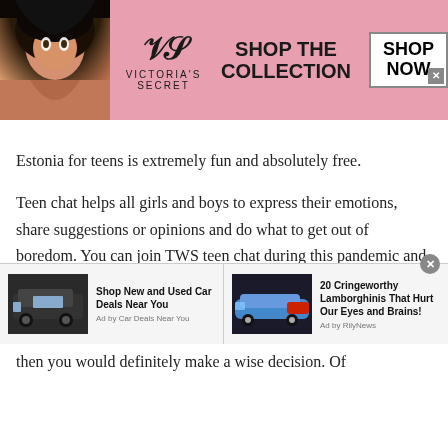[Figure (screenshot): Victoria's Secret advertisement banner with model, VS logo, 'SHOP THE COLLECTION' text, and 'SHOP NOW' button]
Estonia for teens is extremely fun and absolutely free.
Teen chat helps all girls and boys to express their emotions, share suggestions or opinions and do what to get out of boredom. You can join TWS teen chat during this pandemic and experience unlimited fun and enjoyment. So, would you like to join TWS and avail free online chat? Well, if you choose TWS then you would definitely make a wise decision. Of
[Figure (screenshot): Bottom advertisement bar showing 'Shop New and Used Car Deals Near You' with SUV image, and '20 Cringeworthy Lamborghinis That Hurt Our Eyes and Brains!' with sports car image]